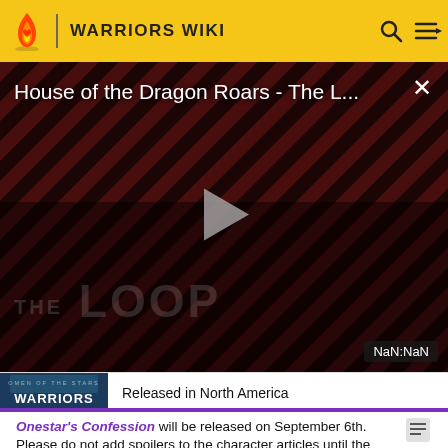WARRIORS WIKI
[Figure (screenshot): Video player showing 'House of the Dragon Roars - The L...' with a dark background featuring diagonal red and black stripes, a play button in the center, 'THE LOOP' text watermark, and a NaN:NaN timer badge in the bottom right.]
[Figure (photo): Warriors book cover - Omen of the Stars: Warriors book cover visible in bottom strip]
Released in North America
Onestar's Confession will be released on September 6th. Please do not add spoilers to the character articles until the book's release UTC time. Rabbitear, Bristlebark, and Flytail are the only pages that will be renamed prior.